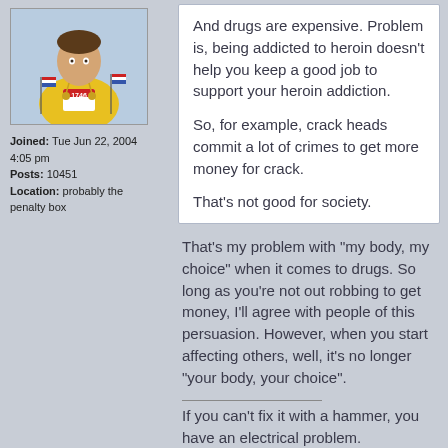[Figure (photo): Avatar photo of a man in a yellow shirt with race bib number 1746, holding small American flags, wearing medals around his neck.]
Joined: Tue Jun 22, 2004 4:05 pm
Posts: 10451
Location: probably the penalty box
And drugs are expensive. Problem is, being addicted to heroin doesn't help you keep a good job to support your heroin addiction.

So, for example, crack heads commit a lot of crimes to get more money for crack.

That's not good for society.
That's my problem with "my body, my choice" when it comes to drugs. So long as you're not out robbing to get money, I'll agree with people of this persuasion. However, when you start affecting others, well, it's no longer "your body, your choice".
If you can't fix it with a hammer, you have an electrical problem.